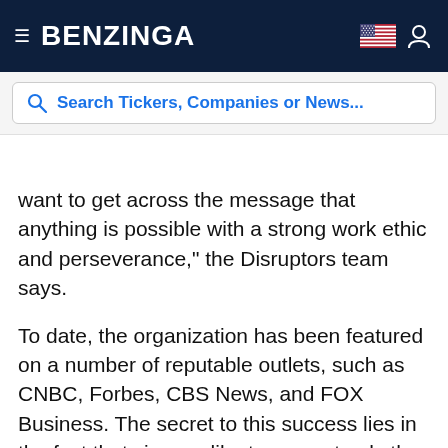BENZINGA
[Figure (screenshot): Search bar with placeholder text: Search Tickers, Companies or News...]
want to get across the message that anything is possible with a strong work ethic and perseverance," the Disruptors team says.
To date, the organization has been featured on a number of reputable outlets, such as CNBC, Forbes, CBS News, and FOX Business. The secret to this success lies in the fact that viewers like to see not only the fame and fortune but also the struggle that aspiring entrepreneurs have been through in order to get to where they are today. Considering this, the new show is expected to be a hit across multiple platforms.